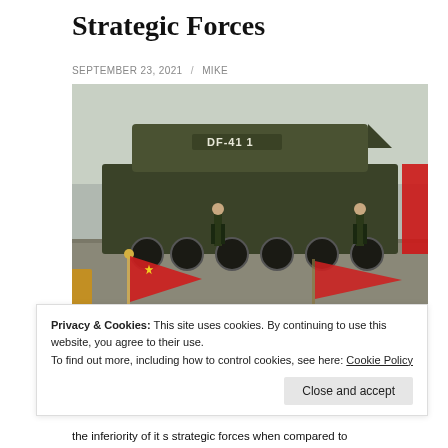Strategic Forces
SEPTEMBER 23, 2021 / MIKE
[Figure (photo): A Chinese DF-41 intercontinental ballistic missile on a military vehicle during a parade, with two soldiers standing at attention and spectators waving Chinese flags in the foreground.]
Privacy & Cookies: This site uses cookies. By continuing to use this website, you agree to their use.
To find out more, including how to control cookies, see here: Cookie Policy
Close and accept
the inferiority of it s strategic forces when compared to